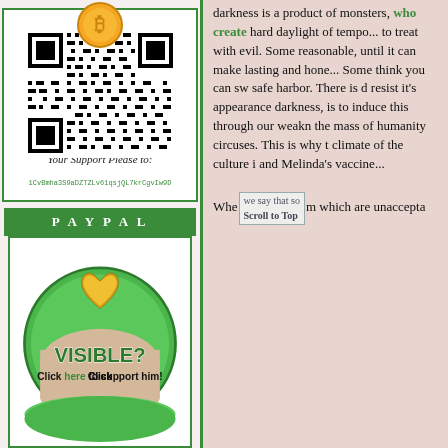[Figure (other): Bitcoin QR code with Bitcoin logo at top]
Your Support Please to:
1CvBmha3S9aDZTZLv61qsjQL7krCgvIw9D
PAYPAL
[Figure (illustration): Green circular PayPal donation button with gold heart, text VISIBLE? Click here to support him! PAYPAL]
darkness is a product of monsters, who create hard daylight of temporary to treat with evil. Some reasonable, until it can make lasting and hone... Some think you can sw safe harbor. There is d resist it's appearance darkness, is to induce this through our weakn the mass of humanity circuses. This is why t climate of the culture i and Melinda's vaccine...
When we say that so which are unaccepta